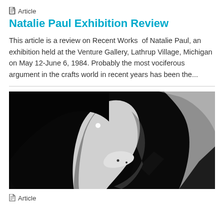Article
Natalie Paul Exhibition Review
This article is a review on Recent Works  of Natalie Paul, an exhibition held at the Venture Gallery, Lathrup Village, Michigan on May 12-June 6, 1984. Probably the most vociferous argument in the crafts world in recent years has been the...
[Figure (photo): Black and white close-up photograph of a ceramic or sculptural vessel with curved forms and dramatic lighting against dark background]
Article